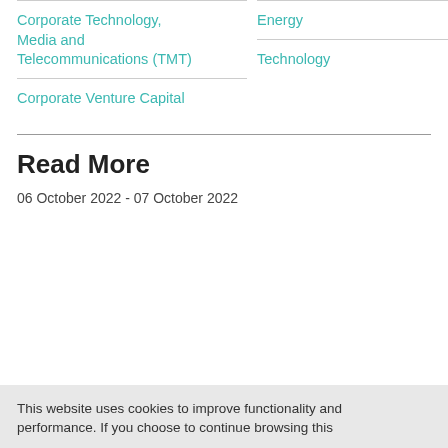Corporate Technology, Media and Telecommunications (TMT)
Corporate Venture Capital
Energy
Technology
Read More
06 October 2022 - 07 October 2022
This website uses cookies to improve functionality and performance. If you choose to continue browsing this